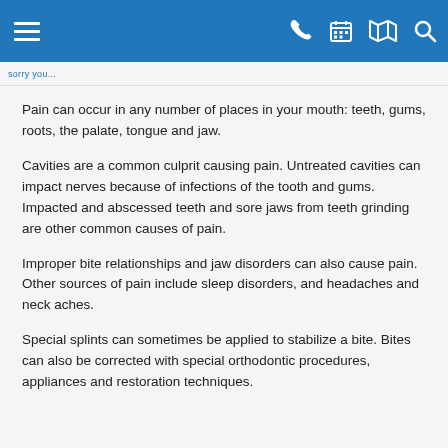Navigation header bar with hamburger menu, phone, calendar, map, and search icons
Pain can occur in any number of places in your mouth: teeth, gums, roots, the palate, tongue and jaw.
Cavities are a common culprit causing pain. Untreated cavities can impact nerves because of infections of the tooth and gums. Impacted and abscessed teeth and sore jaws from teeth grinding are other common causes of pain.
Improper bite relationships and jaw disorders can also cause pain. Other sources of pain include sleep disorders, and headaches and neck aches.
Special splints can sometimes be applied to stabilize a bite. Bites can also be corrected with special orthodontic procedures, appliances and restoration techniques.